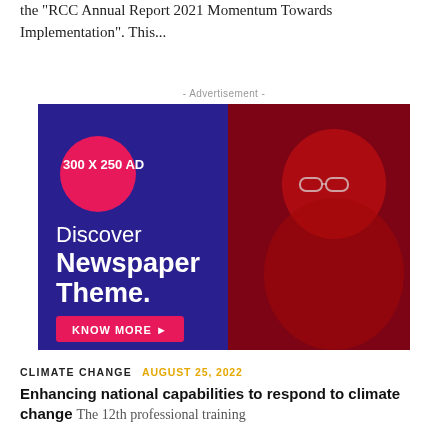the "RCC Annual Report 2021 Momentum Towards Implementation". This...
[Figure (other): Advertisement banner for Newspaper Theme. Dark blue/purple background with red-tinted female figure wearing glasses. Text reads: '300 X 250 AD', 'Discover Newspaper Theme.', 'KNOW MORE ►' button in pink/red.]
- Advertisement -
CLIMATE CHANGE   AUGUST 25, 2022
Enhancing national capabilities to respond to climate change  The 12th professional training